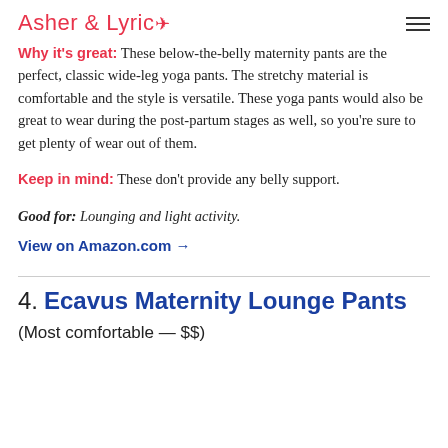Asher & Lyric
Why it's great: These below-the-belly maternity pants are the perfect, classic wide-leg yoga pants. The stretchy material is comfortable and the style is versatile. These yoga pants would also be great to wear during the post-partum stages as well, so you're sure to get plenty of wear out of them.
Keep in mind: These don't provide any belly support.
Good for: Lounging and light activity.
View on Amazon.com →
4. Ecavus Maternity Lounge Pants
(Most comfortable — $$)